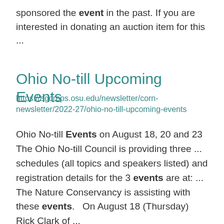sponsored the event in the past. If you are interested in donating an auction item for this ...
Ohio No-till Upcoming Events
https://agcrops.osu.edu/newsletter/corn-newsletter/2022-27/ohio-no-till-upcoming-events
Ohio No-till Events on August 18, 20 and 23 The Ohio No-till Council is providing three ... schedules (all topics and speakers listed) and registration details for the 3 events are at: ... The Nature Conservancy is assisting with these events.   On August 18 (Thursday) Rick Clark of ...